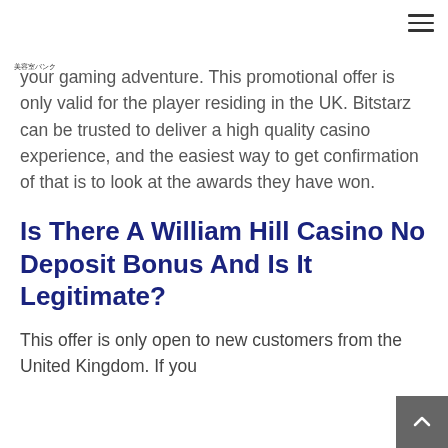美容室バンク
your gaming adventure. This promotional offer is only valid for the player residing in the UK. Bitstarz can be trusted to deliver a high quality casino experience, and the easiest way to get confirmation of that is to look at the awards they have won.
Is There A William Hill Casino No Deposit Bonus And Is It Legitimate?
This offer is only open to new customers from the United Kingdom. If you